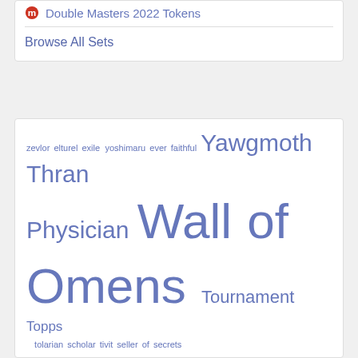Double Masters 2022 Tokens
Browse All Sets
zevlor elturel exile yoshimaru ever faithful Yawgmoth Thran Physician Wall of Omens Tournament Topps tolarian scholar tivit seller of secrets Thragtusk The Wandering Emperor The Dark Telepathy Talrand Sky Summoner talisman of resilience talisman of conviction Svyelun of Sea and Sky Survival of the Fittest Sundering Titan Strategy